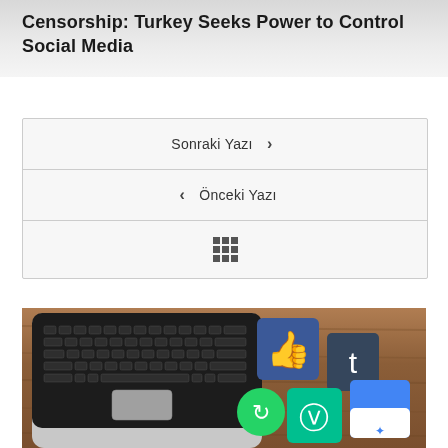Censorship: Turkey Seeks Power to Control Social Media
Sonraki Yazı ›
‹ Önceki Yazı
⊞
[Figure (photo): A laptop keyboard on a wooden table with colorful social media logo cubes (Facebook like, Tumblr, Vine, and others) scattered around it.]